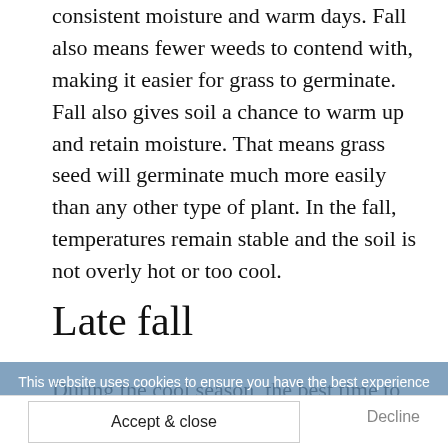consistent moisture and warm days. Fall also means fewer weeds to contend with, making it easier for grass to germinate. Fall also gives soil a chance to warm up and retain moisture. That means grass seed will germinate much more easily than any other type of plant. In the fall, temperatures remain stable and the soil is not overly hot or too cool.
Late fall
During the cool season, the best time to plant grass seed is in the late fall or early spring when daytime temperatures are 60 to 75 degrees F. Late ideal times to seed cool-
This website uses cookies to ensure you have the best experience
Accept & close
Decline